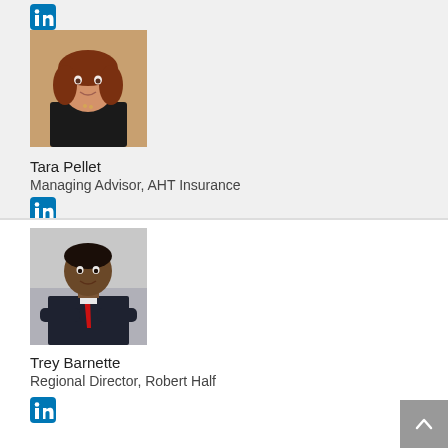[Figure (logo): LinkedIn icon at top of page]
[Figure (photo): Professional headshot of Tara Pellet, a woman with red-brown hair wearing a black top]
Tara Pellet
Managing Advisor, AHT Insurance
[Figure (logo): LinkedIn icon for Tara Pellet]
[Figure (photo): Professional headshot of Trey Barnette, a man in a dark suit with a red tie, arms crossed]
Trey Barnette
Regional Director, Robert Half
[Figure (logo): LinkedIn icon for Trey Barnette]